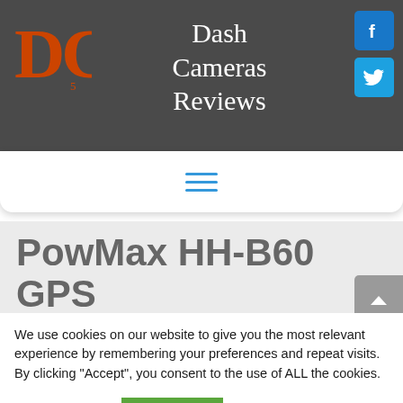Dash Cameras Reviews
[Figure (logo): DC logo in orange/red brick texture font with small subscript '5']
[Figure (logo): Facebook social icon button - blue square with white f]
[Figure (logo): Twitter social icon button - blue square with white bird]
[Figure (other): Hamburger menu icon with three horizontal blue lines]
PowMax HH-B60 GPS
We use cookies on our website to give you the most relevant experience by remembering your preferences and repeat visits. By clicking “Accept”, you consent to the use of ALL the cookies.
Cookie settings  ACCEPT